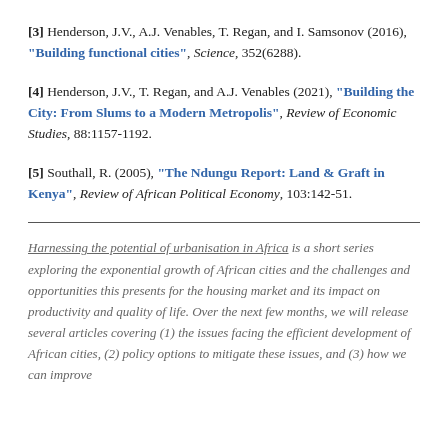[3] Henderson, J.V., A.J. Venables, T. Regan, and I. Samsonov (2016), "Building functional cities", Science, 352(6288).
[4] Henderson, J.V., T. Regan, and A.J. Venables (2021), "Building the City: From Slums to a Modern Metropolis", Review of Economic Studies, 88:1157-1192.
[5] Southall, R. (2005), "The Ndungu Report: Land & Graft in Kenya", Review of African Political Economy, 103:142-51.
Harnessing the potential of urbanisation in Africa is a short series exploring the exponential growth of African cities and the challenges and opportunities this presents for the housing market and its impact on productivity and quality of life. Over the next few months, we will release several articles covering (1) the issues facing the efficient development of African cities, (2) policy options to mitigate these issues, and (3) how we can improve